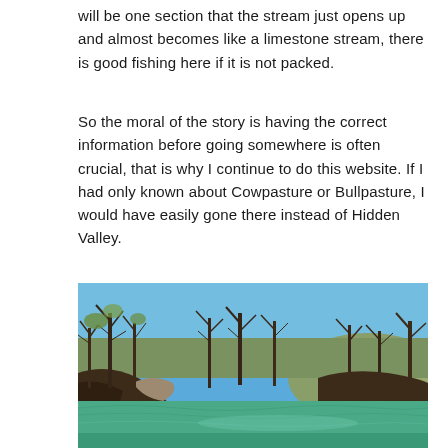will be one section that the stream just opens up and almost becomes like a limestone stream, there is good fishing here if it is not packed.
So the moral of the story is having the correct information before going somewhere is often crucial, that is why I continue to do this website. If I had only known about Cowpasture or Bullpasture, I would have easily gone there instead of Hidden Valley.
[Figure (photo): A river or stream scene with green water in the foreground, surrounded by leafless trees on both banks, with a hill and blue sky in the background. Early spring or late autumn foliage.]